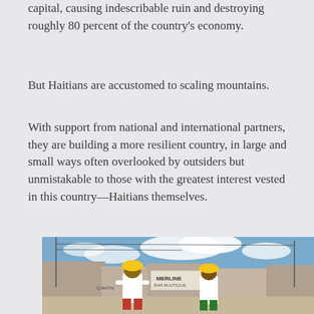capital, causing indescribable ruin and destroying roughly 80 percent of the country's economy.
But Haitians are accustomed to scaling mountains.
With support from national and international partners, they are building a more resilient country, in large and small ways often overlooked by outsiders but unmistakable to those with the greatest interest vested in this country—Haitians themselves.
[Figure (photo): Two construction workers wearing yellow hard hats in a street scene in Haiti, with buildings and a blue sky with clouds in the background. A sign reading 'MERLINE' is visible.]